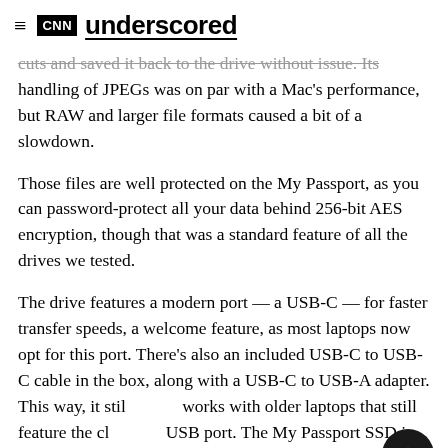CNN underscored
cuts and saved it back to the drive without issue. Its handling of JPEGs was on par with a Mac's performance, but RAW and larger file formats caused a bit of a slowdown.
Those files are well protected on the My Passport, as you can password-protect all your data behind 256-bit AES encryption, though that was a standard feature of all the drives we tested.
The drive features a modern port — a USB-C — for faster transfer speeds, a welcome feature, as most laptops now opt for this port. There's also an included USB-C to USB-C cable in the box, along with a USB-C to USB-A adapter. This way, it still works with older laptops that still feature the classic USB port. The My Passport SSD is plug and play